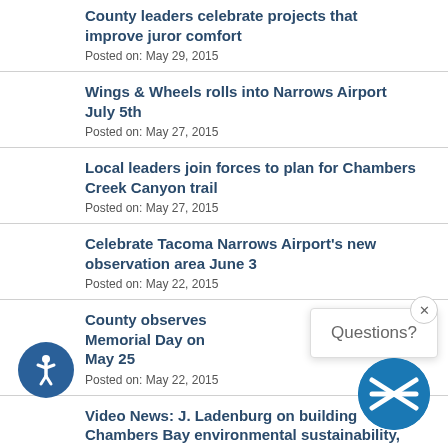County leaders celebrate projects that improve juror comfort
Posted on: May 29, 2015
Wings & Wheels rolls into Narrows Airport July 5th
Posted on: May 27, 2015
Local leaders join forces to plan for Chambers Creek Canyon trail
Posted on: May 27, 2015
Celebrate Tacoma Narrows Airport's new observation area June 3
Posted on: May 22, 2015
County observes Memorial Day on May 25
Posted on: May 22, 2015
Video News: J. Ladenburg on building Chambers Bay environmental sustainability, and more
Posted on: May 22, 2015
Questions?